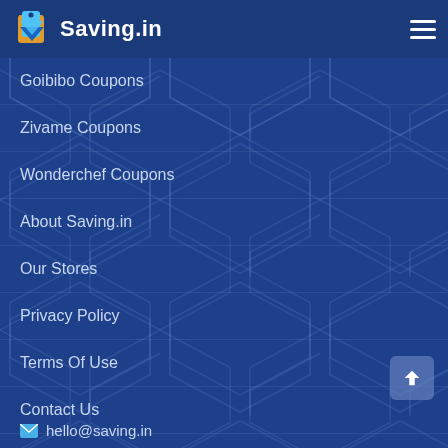Saving.in
Goibibo Coupons
Zivame Coupons
Wonderchef Coupons
About Saving.in
Our Stores
Privacy Policy
Terms Of Use
Contact Us
Coupon Market
Contact Info
hello@saving.in